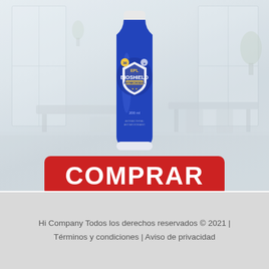[Figure (photo): EPL Bioshield antimicrobial product bottle (blue, 200ml) with shield logo, photographed against a blurred bright interior room background with windows, chairs, and plants.]
[Figure (other): Red rounded rectangle button with white bold text reading COMPRAR]
Hi Company Todos los derechos reservados © 2021 | Términos y condiciones | Aviso de privacidad